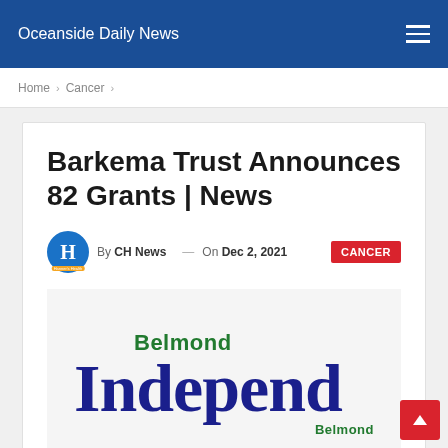Oceanside Daily News
Home > Cancer >
Barkema Trust Announces 82 Grants | News
By CH News — On Dec 2, 2021 CANCER
[Figure (logo): Belmond Independent newspaper logo with 'Belmond' in green above large blue 'Independe' text, partially cropped, with 'Belmond' in green at bottom right]